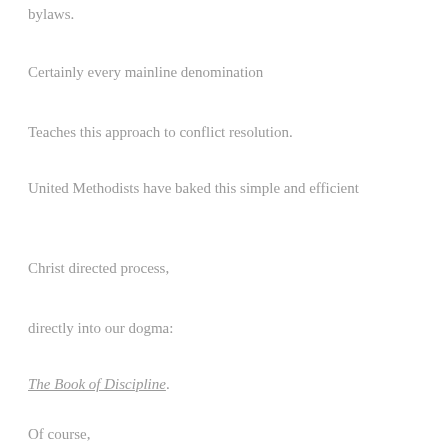bylaws.
Certainly every mainline denomination
Teaches this approach to conflict resolution.
United Methodists have baked this simple and efficient
Christ directed process,
directly into our dogma:
The Book of Discipline.
Of course,